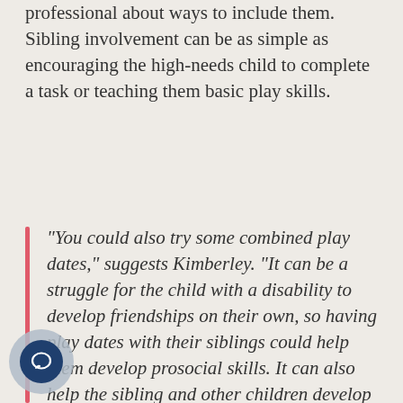professional about ways to include them. Sibling involvement can be as simple as encouraging the high-needs child to complete a task or teaching them basic play skills.
“You could also try some combined play dates,” suggests Kimberley. “It can be a struggle for the child with a disability to develop friendships on their own, so having play dates with their siblings could help them develop prosocial skills. It can also help the sibling and other children develop greater understanding, empathy and appreciation. But the typically developing sibling should also have separate play dates with their own friends so they have a chance to develop their